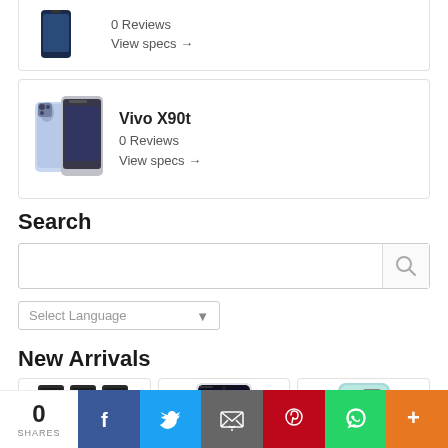[Figure (photo): Partial product card at top showing a dark smartphone image]
0 Reviews
View specs →
[Figure (photo): Vivo X90t smartphone product card with phone image]
Vivo X90t
0 Reviews
View specs →
Search
[Figure (screenshot): Search input box with search icon button]
[Figure (screenshot): Select Language dropdown]
New Arrivals
[Figure (photo): Grid of colorful small electronic devices]
[Figure (photo): Black gaming smartphone front view]
[Figure (photo): Light blue/cyan smartphone back view]
0 SHARES
[Figure (infographic): Social share bar with Facebook, Twitter, Email, Pinterest, WhatsApp and More buttons]